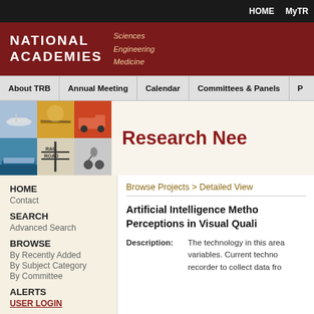HOME  MyTR
[Figure (logo): National Academies of Sciences Engineering Medicine logo with dark red background]
About TRB  Annual Meeting  Calendar  Committees & Panels  P
[Figure (photo): Grid of 6 transportation photos: airplane, bridge at sunset, red truck, cargo ship, railroad crossing, bicycle rider]
Research Nee
HOME
Contact
SEARCH
Advanced Search
BROWSE
By Recently Added
By Subject Category
By Committee
ALERTS
USER LOGIN
Browse Projects > Detailed View
Artificial Intelligence Metho Perceptions in Visual Quali
Description:  The technology in this area variables. Current techno recorder to collect data fro